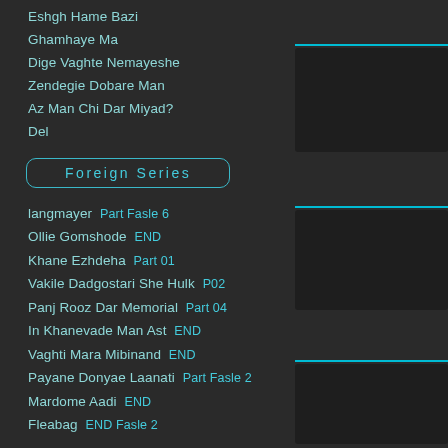Eshgh Hame Bazi
Ghamhaye Ma
Dige Vaghte Nemayeshe
Zendegie Dobare Man
Az Man Chi Dar Miyad?
Del
Foreign Series
langmayer  Part Fasle 6
Ollie Gomshode  END
Khane Ezhdeha  Part 01
Vakile Dadgostari She Hulk  P02
Panj Rooz Dar Memorial  Part 04
In Khanevade Man Ast  END
Vaghti Mara Mibinand  END
Payane Donyae Laanati  Part Fasle 2
Mardome Aadi  END
Fleabag  END Fasle 2